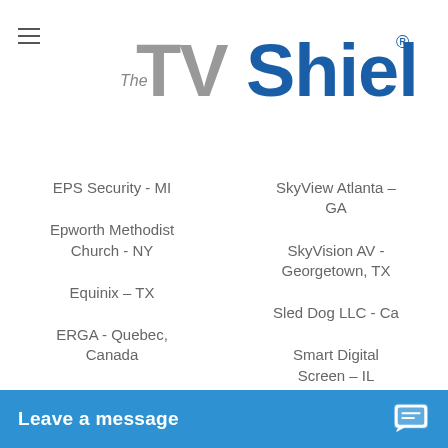[Figure (logo): The TV Shield logo — stylized text with 'The' small, 'TV' large gray, 'Shield.' large blue, with registered trademark symbol]
EPS Security - MI
SkyView Atlanta – GA
Epworth Methodist Church - NY
SkyVision AV - Georgetown, TX
Equinix – TX
Sled Dog LLC - Ca
ERGA - Quebec, Canada
Smart Digital Screen – IL
ERS – MD
Smart Home Systems – FL
ESCO - Portland, OR
Smart Start Technologies -
ESCO Newton
Leave a message